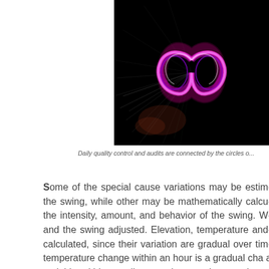[Figure (illustration): Dark background image showing a glowing pink/magenta infinity symbol with light streaks and colorful light effects radiating outward]
Daily quality control and audits are connected by the circles o...
Some of the special cause variations may be estimated the swing, while other may be mathematically calculated the intensity, amount, and behavior of the swing. W and the swing adjusted. Elevation, temperature and calculated, since their variation are gradual over tim temperature change within an hour is a gradual cha a variable within a split second, or an instant chang undulation is a change in distance between geogra with elevations, where the distance between geogr at sea level or at altitude could vary as much as a f special cause variations may be assessed as signi performance but sill inconsequential to the end res swing there is no turning back to alter the location...